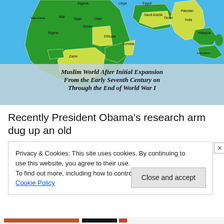[Figure (map): Map titled 'Muslim World After Initial Expansion From the Early Seventh Century on Through the End of World War I'. Shows Africa, Middle East, South and Southeast Asia on a blue background. Countries highlighted in green (Muslim majority) include Algeria, Libya, Egypt, Mali, Niger, Chad, Sudan, Nigeria, Ethiopia, Somalia, Zaire, Saudi Arabia, Oman, Pakistan, India, Malaysia, Indonesia. Some in yellow-green.]
Muslim World After Initial Expansion From the Early Seventh Century on Through the End of World War I
Recently President Obama's research arm dug up an old
Privacy & Cookies: This site uses cookies. By continuing to use this website, you agree to their use.
To find out more, including how to control cookies, see here: Cookie Policy